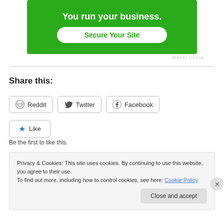[Figure (other): Green advertisement banner with text 'You run your business.' and a white button 'Secure Your Site']
REPORT THIS AD
Share this:
Reddit  Twitter  Facebook
Like
Be the first to like this.
Privacy & Cookies: This site uses cookies. By continuing to use this website, you agree to their use.
To find out more, including how to control cookies, see here: Cookie Policy
Close and accept